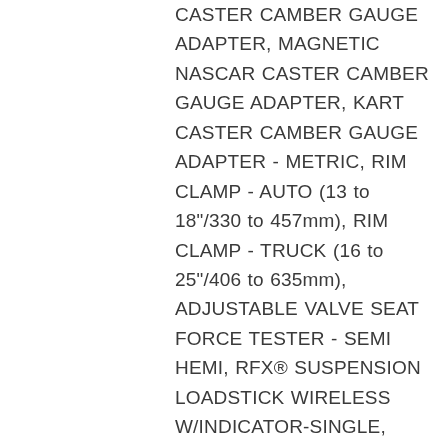CASTER CAMBER GAUGE ADAPTER, MAGNETIC NASCAR CASTER CAMBER GAUGE ADAPTER, KART CASTER CAMBER GAUGE ADAPTER - METRIC, RIM CLAMP - AUTO (13 to 18"/330 to 457mm), RIM CLAMP - TRUCK (16 to 25"/406 to 635mm), ADJUSTABLE VALVE SEAT FORCE TESTER - SEMI HEMI, RFX® SUSPENSION LOADSTICK WIRELESS W/INDICATOR-SINGLE, RFX® SUSPENSION LOADSTICK WIRELESS W/INDICATOR-SET OF 2, RFX® SUSPENSION LOADSTICK WIRELESS W/INDICATOR-SET OF 4, RFX® SUSPENSION LOADSTICK